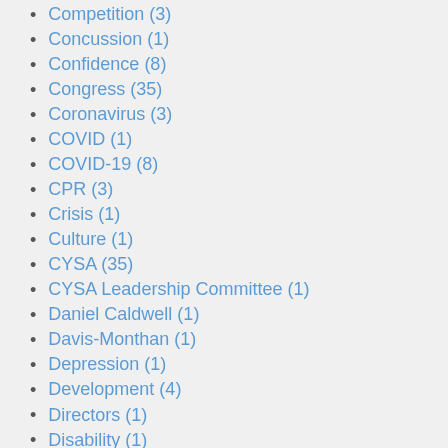Competition (3)
Concussion (1)
Confidence (8)
Congress (35)
Coronavirus (3)
COVID (1)
COVID-19 (8)
CPR (3)
Crisis (1)
Culture (1)
CYSA (35)
CYSA Leadership Committee (1)
Daniel Caldwell (1)
Davis-Monthan (1)
Depression (1)
Development (4)
Directors (1)
Disability (1)
Disorders (1)
Diversity (2)
Donations (1)
Douglas County (1)
Dr. Andrea Corn (1)